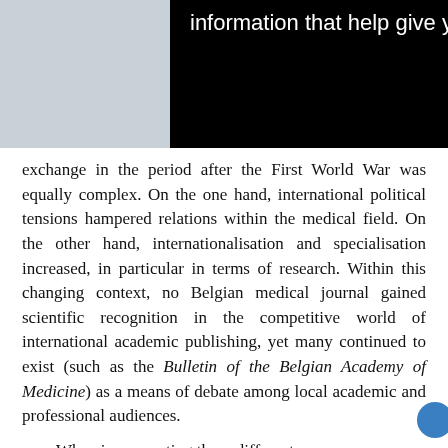[Figure (screenshot): Black overlay popup/banner with white text reading 'information that help give you the very best browsing experience.']
exchange in the period after the First World War was equally complex. On the one hand, international political tensions hampered relations within the medical field. On the other hand, internationalisation and specialisation increased, in particular in terms of research. Within this changing context, no Belgian medical journal gained scientific recognition in the competitive world of international academic publishing, yet many continued to exist (such as the Bulletin of the Belgian Academy of Medicine) as a means of debate among local academic and professional audiences.
When incorporating these different